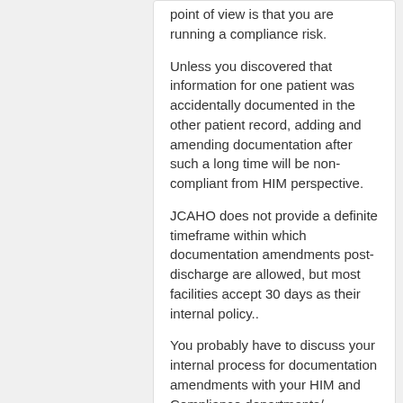point of view is that you are running a compliance risk.
Unless you discovered that information for one patient was accidentally documented in the other patient record, adding and amending documentation after such a long time will be non-compliant from HIM perspective.
JCAHO does not provide a definite timeframe within which documentation amendments post-discharge are allowed, but most facilities accept 30 days as their internal policy..
You probably have to discuss your internal process for documentation amendments with your HIM and Compliance departments/
[Figure (logo): Circular logo with orange and purple design featuring a stylized human figure]
don.cdi.rn@gmail.com
July 2018